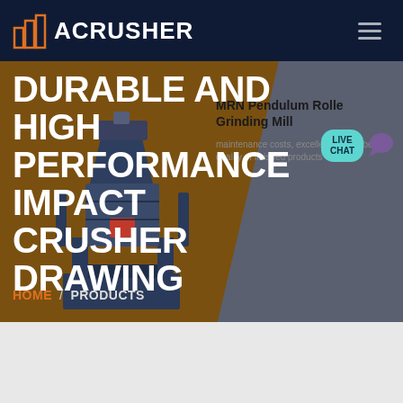ACRUSHER
DURABLE AND HIGH PERFORMANCE IMPACT CRUSHER DRAWING
MRN Pendulum Roller Grinding Mill
maintenance costs, excellent action, better quality of finished products
HOME / PRODUCTS
[Figure (screenshot): ACrusher website screenshot showing logo, navigation, hero banner with brown and gray background, industrial crusher machine image, and product information panel]